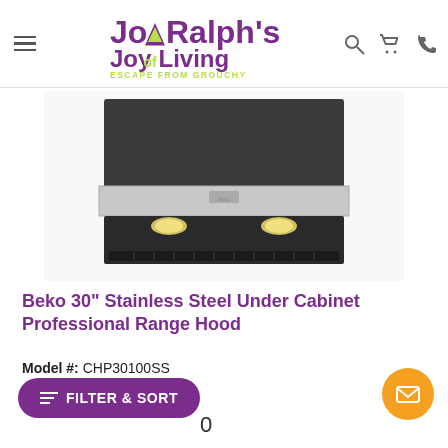Ralph's Joy of Living — Escape from Grouchy
[Figure (photo): Beko stainless steel under cabinet professional range hood, viewed from below at an angle, showing lights and filters]
Beko 30" Stainless Steel Under Cabinet Professional Range Hood
Model #: CHP30100SS
★★★★★ (0)
FILTER & SORT